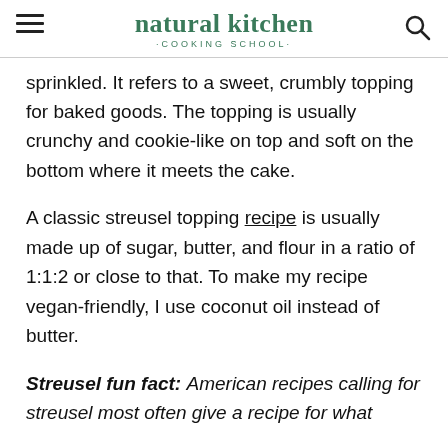natural kitchen · COOKING SCHOOL ·
sprinkled. It refers to a sweet, crumbly topping for baked goods. The topping is usually crunchy and cookie-like on top and soft on the bottom where it meets the cake.
A classic streusel topping recipe is usually made up of sugar, butter, and flour in a ratio of 1:1:2 or close to that. To make my recipe vegan-friendly, I use coconut oil instead of butter.
Streusel fun fact: American recipes calling for streusel most often give a recipe for what